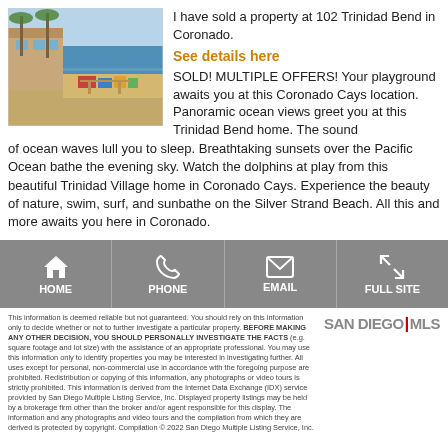[Figure (photo): Outdoor photo of a beachside property at 102 Trinidad Bend in Coronado, showing a patio/deck area with colorful items, palm trees, and blue sky]
I have sold a property at 102 Trinidad Bend in Coronado.
See details here
SOLD! MULTIPLE OFFERS! Your playground awaits you at this Coronado Cays location. Panoramic ocean views greet you at this Trinidad Bend home. The sound of ocean waves lull you to sleep. Breathtaking sunsets over the Pacific Ocean bathe the evening sky. Watch the dolphins at play from this beautiful Trinidad Village home in Coronado Cays. Experience the beauty of nature, swim, surf, and sunbathe on the Silver Strand Beach. All this and more awaits you here in Coronado.
[Figure (infographic): Navigation bar with four icons and labels: HOME (house icon), PHONE (phone icon), EMAIL (envelope icon), FULL SITE (expand icon)]
This information is deemed reliable but not guaranteed. You should rely on this information only to decide whether or not to further investigate a particular property. BEFORE MAKING ANY OTHER DECISION, YOU SHOULD PERSONALLY INVESTIGATE THE FACTS (e.g. square footage and lot size) with the assistance of an appropriate professional. You may use this information only to identify properties you may be interested in investigating further. All uses except for personal, non-commercial use in accordance with the foregoing purpose are prohibited. Redistribution or copying of this information, any photographs or video tours is strictly prohibited. This information is derived from the Internet Data Exchange (IDX) service provided by San Diego Multiple Listing Service, Inc. Displayed property listings may be held by a brokerage firm other than the broker and/or agent responsible for this display. The information and any photographs and video tours and the compilation from which they are derived is protected by copyright. Compilation © 2022 San Diego Multiple Listing Service, Inc.